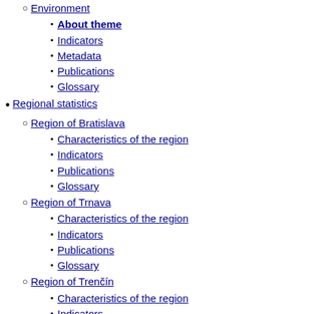Environment (circle bullet, level 2)
About theme (square bullet, level 3, bold)
Indicators (square bullet, level 3)
Metadata (square bullet, level 3)
Publications (square bullet, level 3)
Glossary (square bullet, level 3)
Regional statistics (round bullet, level 1)
Region of Bratislava (circle bullet, level 2)
Characteristics of the region (square bullet, level 3)
Indicators (square bullet, level 3)
Publications (square bullet, level 3)
Glossary (square bullet, level 3)
Region of Trnava (circle bullet, level 2)
Characteristics of the region (square bullet, level 3)
Indicators (square bullet, level 3)
Publications (square bullet, level 3)
Glossary (square bullet, level 3)
Region of Trenčín (circle bullet, level 2)
Characteristics of the region (square bullet, level 3)
Indicators (square bullet, level 3)
Publications (square bullet, level 3)
Slovník pojmov (square bullet, level 3)
Region of Nitra (circle bullet, level 2)
News (square bullet, level 3)
Indicators (square bullet, level 3, partial)